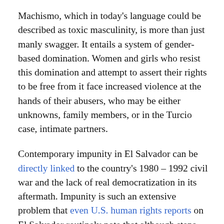Machismo, which in today's language could be described as toxic masculinity, is more than just manly swagger. It entails a system of gender-based domination. Women and girls who resist this domination and attempt to assert their rights to be free from it face increased violence at the hands of their abusers, who may be either unknowns, family members, or in the Turcio case, intimate partners.
Contemporary impunity in El Salvador can be directly linked to the country's 1980 – 1992 civil war and the lack of real democratization in its aftermath. Impunity is such an extensive problem that even U.S. human rights reports on El Salvador routinely note that although steps have been taken to include the language of international rights norms, these steps are far from sufficient…